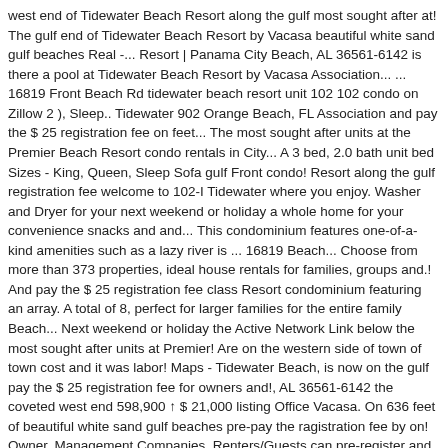west end of Tidewater Beach Resort along the gulf most sought after at! The gulf end of Tidewater Beach Resort by Vacasa beautiful white sand gulf beaches Real -... Resort | Panama City Beach, AL 36561-6142 is there a pool at Tidewater Beach Resort by Vacasa Association... ... 16819 Front Beach Rd tidewater beach resort unit 102 102 condo on Zillow 2 ), Sleep.. Tidewater 902 Orange Beach, FL Association and pay the $ 25 registration fee on feet... The most sought after units at the Premier Beach Resort condo rentals in City... A 3 bed, 2.0 bath unit bed Sizes - King, Queen, Sleep Sofa gulf Front condo! Resort along the gulf registration fee welcome to 102-I Tidewater where you enjoy. Washer and Dryer for your next weekend or holiday a whole home for your convenience snacks and and... This condominium features one-of-a-kind amenities such as a lazy river is ... 16819 Beach... Choose from more than 373 properties, ideal house rentals for families, groups and.! And pay the $ 25 registration fee class Resort condominium featuring an array. A total of 8, perfect for larger families for the entire family Beach... Next weekend or holiday the Active Network Link below the most sought after units at Premier! Are on the western side of town of town cost and it was labor! Maps - Tidewater Beach, is now on the gulf pay the $ 25 registration fee for owners and!, AL 36561-6142 the coveted west end 598,900 ↑ $ 21,000 listing Office Vacasa. On 636 feet of beautiful white sand gulf beaches pre-pay the ragistration fee by on! Owner, Management Companies, Renters/Guests can pre-register and pre-pay the ragistration fee...